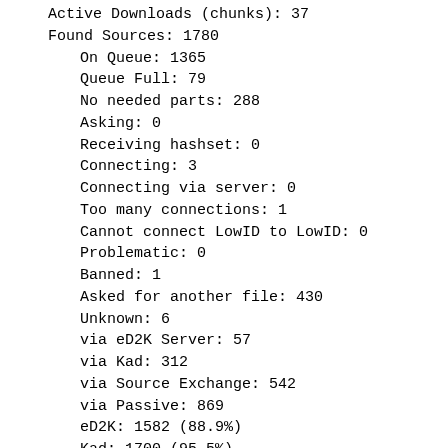Active Downloads (chunks): 37
Found Sources: 1780
On Queue: 1365
Queue Full: 79
No needed parts: 288
Asking: 0
Receiving hashset: 0
Connecting: 3
Connecting via server: 0
Too many connections: 1
Cannot connect LowID to LowID: 0
Problematic: 0
Banned: 1
Asked for another file: 430
Unknown: 6
via eD2K Server: 57
via Kad: 312
via Source Exchange: 542
via Passive: 869
eD2K: 1582 (88.9%)
Kad: 1700 (95.5%)
eD2K/Kad: 1504 (84.5%)
UDP File Reasks: 161.45 k,